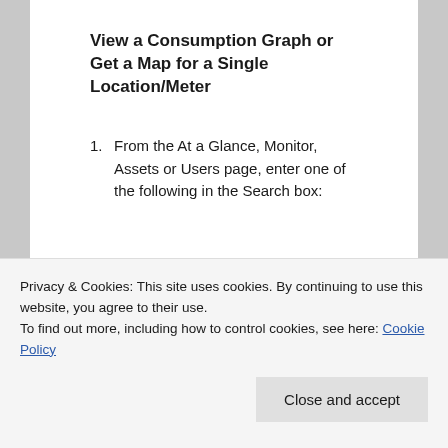View a Consumption Graph or Get a Map for a Single Location/Meter
From the At a Glance, Monitor, Assets or Users page, enter one of the following in the Search box:
Account Name
Location ID
Privacy & Cookies: This site uses cookies. By continuing to use this website, you agree to their use.
To find out more, including how to control cookies, see here: Cookie Policy